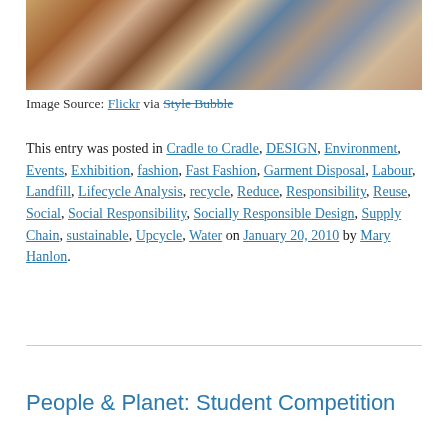[Figure (photo): Photo of a pile of discarded and jumbled clothing and fabric items in various colors]
Image Source: Flickr via Style Bubble
This entry was posted in Cradle to Cradle, DESIGN, Environment, Events, Exhibition, fashion, Fast Fashion, Garment Disposal, Labour, Landfill, Lifecycle Analysis, recycle, Reduce, Responsibility, Reuse, Social, Social Responsibility, Socially Responsible Design, Supply Chain, sustainable, Upcycle, Water on January 20, 2010 by Mary Hanlon.
People & Planet: Student Competition